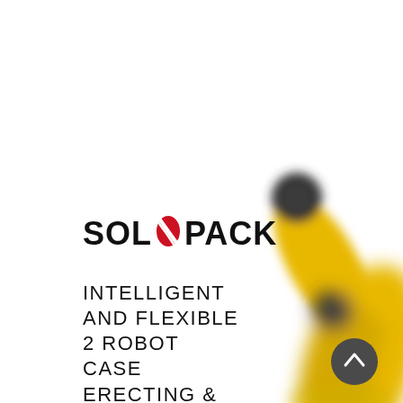[Figure (photo): Yellow industrial robot arm on white background, blurred/soft focus, positioned on right and bottom portions of the page]
[Figure (logo): SOL PACK logo with a red diagonal slash/oval icon between SOL and PACK text in bold black]
INTELLIGENT AND FLEXIBLE 2 ROBOT CASE ERECTING & PACKING MACHINE